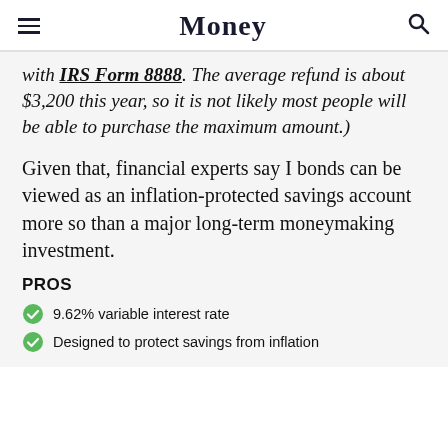Money
with IRS Form 8888. The average refund is about $3,200 this year, so it is not likely most people will be able to purchase the maximum amount.)
Given that, financial experts say I bonds can be viewed as an inflation-protected savings account more so than a major long-term moneymaking investment.
PROS
9.62% variable interest rate
Designed to protect savings from inflation